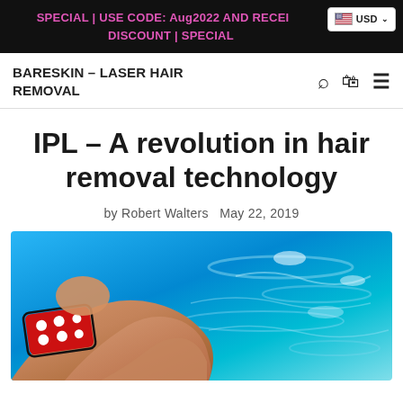SPECIAL | USE CODE: Aug2022 AND RECEIVE DISCOUNT | SPECIAL
BARESKIN – LASER HAIR REMOVAL
IPL – A revolution in hair removal technology
by Robert Walters   May 22, 2019
[Figure (photo): Woman in red polka-dot bikini lounging by a bright blue swimming pool, legs visible, shot from above showing tanned skin and sparkling turquoise water]